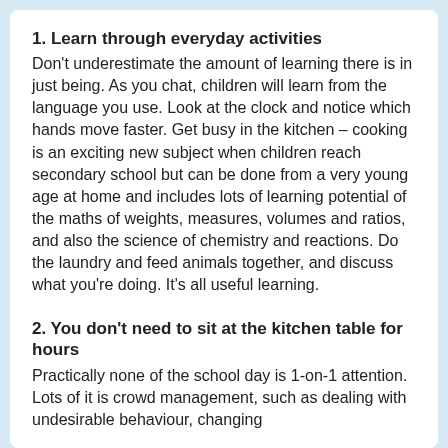1. Learn through everyday activities
Don't underestimate the amount of learning there is in just being. As you chat, children will learn from the language you use. Look at the clock and notice which hands move faster. Get busy in the kitchen – cooking is an exciting new subject when children reach secondary school but can be done from a very young age at home and includes lots of learning potential of the maths of weights, measures, volumes and ratios, and also the science of chemistry and reactions. Do the laundry and feed animals together, and discuss what you're doing. It's all useful learning.
2. You don't need to sit at the kitchen table for hours
Practically none of the school day is 1-on-1 attention. Lots of it is crowd management, such as dealing with undesirable behaviour, changing...